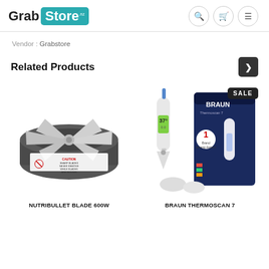[Figure (logo): GrabStore logo with teal background on 'Store' text]
Vendor : Grabstore
Related Products
[Figure (photo): NutriBullet Blade 600W product photo - dark grey circular blade base with caution label]
[Figure (photo): Braun Thermoscan 7 ear thermometer product photo with packaging, showing SALE badge]
NUTRIBULLET BLADE 600W
BRAUN THERMOSCAN 7